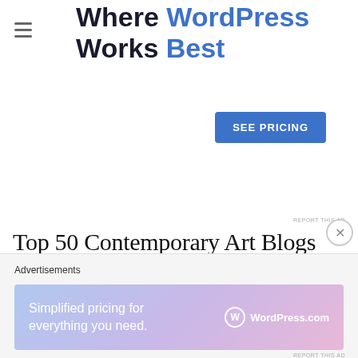Where WordPress Works Best
SEE PRICING
REPORT THIS AD
Top 50 Contemporary Art Blogs 2016
[Figure (illustration): Gold award medal with red ribbon/lanyard, partially visible, centered on page]
Advertisements
[Figure (screenshot): WordPress.com advertisement banner with gradient background (blue to purple to pink). Text reads: Simplified pricing for everything you need. WordPress.com logo on the right.]
REPORT THIS AD